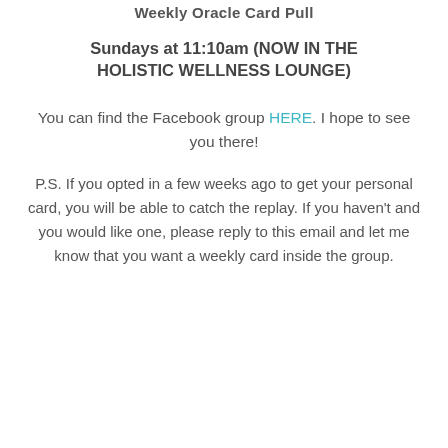Weekly Oracle Card Pull
Sundays at 11:10am (NOW IN THE HOLISTIC WELLNESS LOUNGE)
You can find the Facebook group HERE. I hope to see you there!
P.S. If you opted in a few weeks ago to get your personal card, you will be able to catch the replay. If you haven't and you would like one, please reply to this email and let me know that you want a weekly card inside the group.